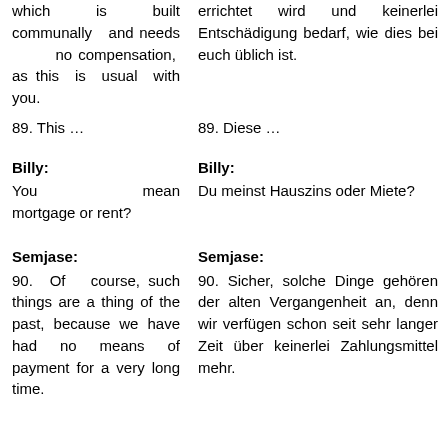which is built communally and needs no compensation, as this is usual with you.
errichtet wird und keinerlei Entschädigung bedarf, wie dies bei euch üblich ist.
89. This …
89. Diese …
Billy:
Billy:
You mean mortgage or rent?
Du meinst Hauszins oder Miete?
Semjase:
Semjase:
90. Of course, such things are a thing of the past, because we have had no means of payment for a very long time.
90. Sicher, solche Dinge gehören der alten Vergangenheit an, denn wir verfügen schon seit sehr langer Zeit über keinerlei Zahlungsmittel mehr.